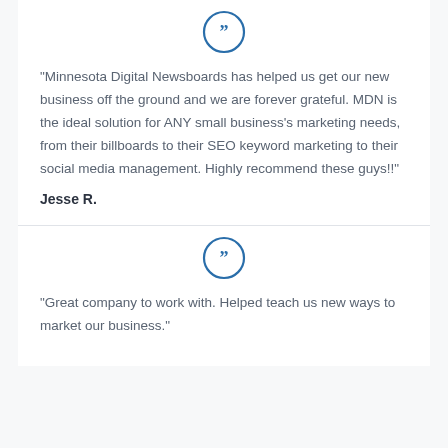[Figure (illustration): Blue circle with double quotation mark icon (open quote symbol)]
“Minnesota Digital Newsboards has helped us get our new business off the ground and we are forever grateful. MDN is the ideal solution for ANY small business’s marketing needs, from their billboards to their SEO keyword marketing to their social media management. Highly recommend these guys!!”
Jesse R.
[Figure (illustration): Blue circle with double quotation mark icon (open quote symbol)]
“Great company to work with. Helped teach us new ways to market our business.”